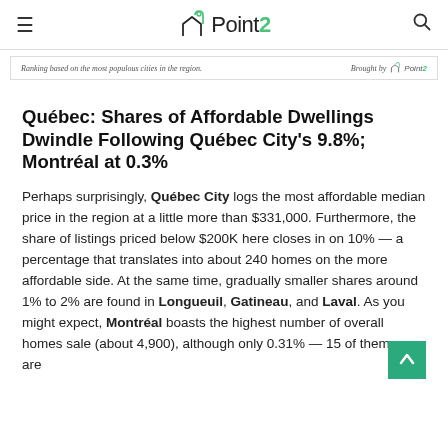≡  Point2  🔍
Ranking based on the most populous cities in the region.    Brought by Point2
Québec: Shares of Affordable Dwellings Dwindle Following Québec City's 9.8%; Montréal at 0.3%
Perhaps surprisingly, Québec City logs the most affordable median price in the region at a little more than $331,000. Furthermore, the share of listings priced below $200K here closes in on 10% — a percentage that translates into about 240 homes on the more affordable side. At the same time, gradually smaller shares around 1% to 2% are found in Longueuil, Gatineau, and Laval. As you might expect, Montréal boasts the highest number of overall homes sale (about 4,900), although only 0.31% — 15 of them — are